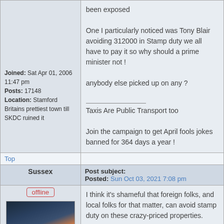been exposed

One I particularly noticed was Tony Blair avoiding 312000 in Stamp duty we all have to pay it so why should a prime minister not !

anybody else picked up on any ?

___________________
Taxis Are Public Transport too

Join the campaign to get April fools jokes banned for 364 days a year !
Joined: Sat Apr 01, 2006 11:47 pm
Posts: 17148
Location: Stamford Britains prettiest town till SKDC ruined it
Top
Sussex
Post subject: Re: The Pandora papers
Posted: Sun Oct 03, 2021 7:08 pm
offline
I think it's shameful that foreign folks, and local folks for that matter, can avoid stamp duty on these crazy-priced properties.